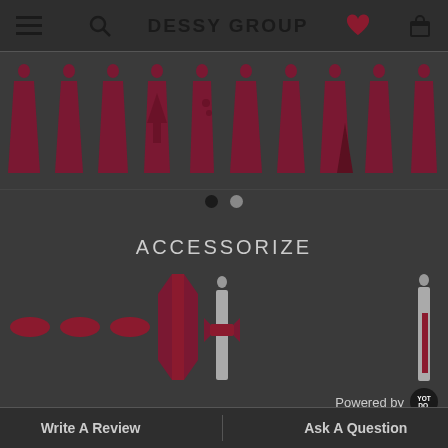DESSY GROUP
[Figure (photo): Thumbnail strip of 10 dark red/burgundy bridesmaid dresses in various styles shown as small silhouettes]
ACCESSORIZE
[Figure (photo): Row of accessories including 3 small burgundy clutch/belt shapes, a full-length sash/wrap, a bow sash, and a small figure with sash]
Powered by Yotpo
☆☆☆☆☆
0 Reviews
Write A Review
Ask A Question